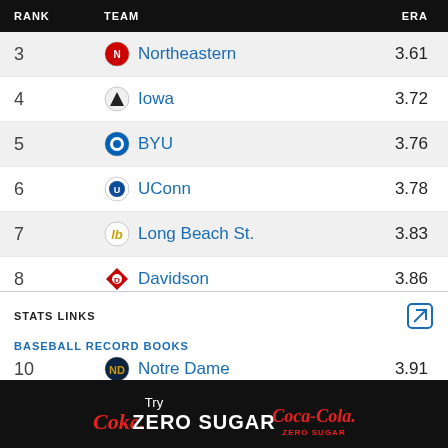| RANK | TEAM | ERA |
| --- | --- | --- |
| 3 | Northeastern | 3.61 |
| 4 | Iowa | 3.72 |
| 5 | BYU | 3.76 |
| 6 | UConn | 3.78 |
| 7 | Long Beach St. | 3.83 |
| 8 | Davidson | 3.86 |
| 9 | VCU | 3.91 |
| 10 | Notre Dame | 3.91 |
STATS LINKS
BASEBALL RECORD BOOKS
[Figure (other): Coke Zero Sugar advertisement banner with Coca-Cola logo]